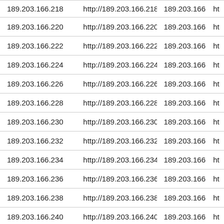| 189.203.166.218 | http://189.203.166.218 | 189.203.166.219 | ht |
| 189.203.166.220 | http://189.203.166.220 | 189.203.166.221 | ht |
| 189.203.166.222 | http://189.203.166.222 | 189.203.166.223 | ht |
| 189.203.166.224 | http://189.203.166.224 | 189.203.166.225 | ht |
| 189.203.166.226 | http://189.203.166.226 | 189.203.166.227 | ht |
| 189.203.166.228 | http://189.203.166.228 | 189.203.166.229 | ht |
| 189.203.166.230 | http://189.203.166.230 | 189.203.166.231 | ht |
| 189.203.166.232 | http://189.203.166.232 | 189.203.166.233 | ht |
| 189.203.166.234 | http://189.203.166.234 | 189.203.166.235 | ht |
| 189.203.166.236 | http://189.203.166.236 | 189.203.166.237 | ht |
| 189.203.166.238 | http://189.203.166.238 | 189.203.166.239 | ht |
| 189.203.166.240 | http://189.203.166.240 | 189.203.166.241 | ht |
| 189.203.166.242 | http://189.203.166.242 | 189.203.166.243 | ht |